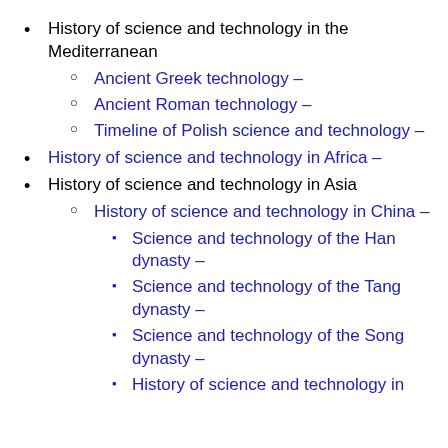History of science and technology in the Mediterranean
Ancient Greek technology –
Ancient Roman technology –
Timeline of Polish science and technology –
History of science and technology in Africa –
History of science and technology in Asia
History of science and technology in China –
Science and technology of the Han dynasty –
Science and technology of the Tang dynasty –
Science and technology of the Song dynasty –
History of science and technology in the People's Republic of China